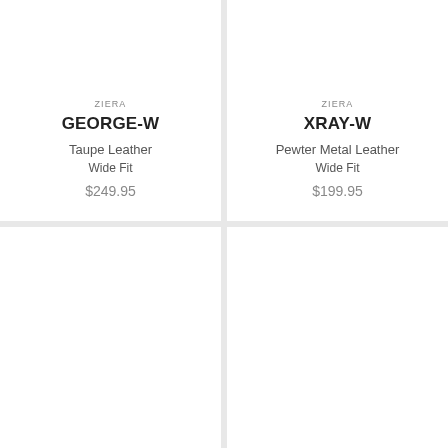ZIERA
GEORGE-W
Taupe Leather
Wide Fit
$249.95
ZIERA
XRAY-W
Pewter Metal Leather
Wide Fit
$199.95